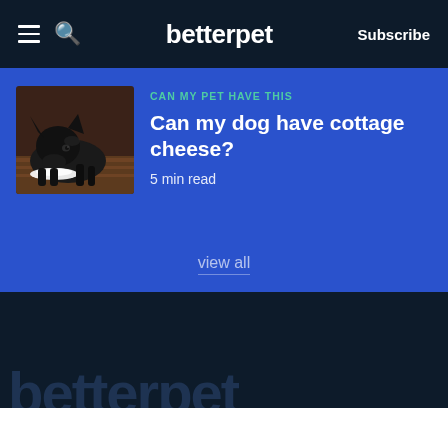betterpet | Subscribe
CAN MY PET HAVE THIS
Can my dog have cottage cheese?
5 min read
view all
betterpet